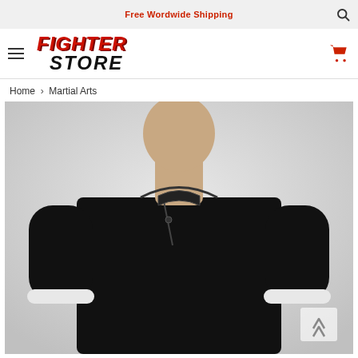Free Wordwide Shipping
[Figure (logo): Fighter Store logo with red italic FIGHTER text and black italic STORE text]
Home > Martial Arts
[Figure (photo): Person wearing a black traditional martial arts long-sleeve top with mandarin collar and diagonal button closure, white cuffs visible, light grey background]